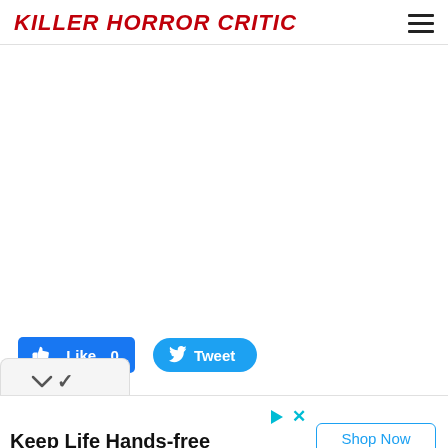KILLER HORROR CRITIC
[Figure (other): Social share buttons: Facebook Like 0 button and Twitter Tweet button]
0 Comments
[Figure (other): Collapsible tab with chevron/down arrow]
Keep Life Hands-free
Sleek design incorporates a rear pocket with a secure snap for your ID and credit cards. Noémie
Shop Now